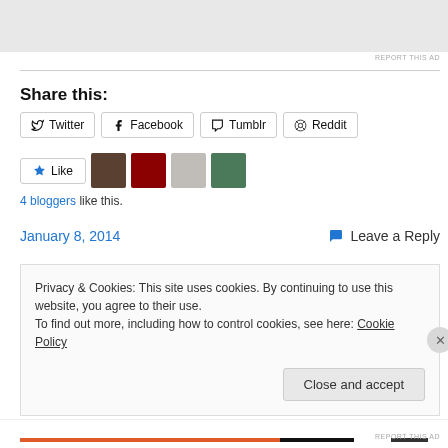[Figure (other): Top advertisement banner area, light gray background]
REPORT THIS AD
Share this:
Twitter  Facebook  Tumblr  Reddit (social share buttons)
Like  [4 blogger avatar thumbnails]
4 bloggers like this.
January 8, 2014    Leave a Reply
Privacy & Cookies: This site uses cookies. By continuing to use this website, you agree to their use.
To find out more, including how to control cookies, see here: Cookie Policy
Close and accept